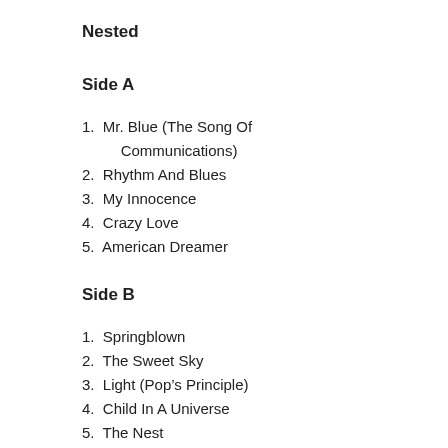Nested
Side A
1. Mr. Blue (The Song Of Communications)
2. Rhythm And Blues
3. My Innocence
4. Crazy Love
5. American Dreamer
Side B
1. Springblown
2. The Sweet Sky
3. Light (Pop's Principle)
4. Child In A Universe
5. The Nest